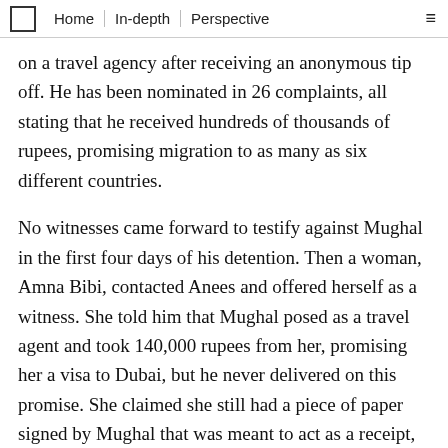Home | In-depth | Perspective
on a travel agency after receiving an anonymous tip off. He has been nominated in 26 complaints, all stating that he received hundreds of thousands of rupees, promising migration to as many as six different countries.
No witnesses came forward to testify against Mughal in the first four days of his detention. Then a woman, Amna Bibi, contacted Anees and offered herself as a witness. She told him that Mughal posed as a travel agent and took 140,000 rupees from her, promising her a visa to Dubai, but he never delivered on this promise. She claimed she still had a piece of paper signed by Mughal that was meant to act as a receipt, and that he